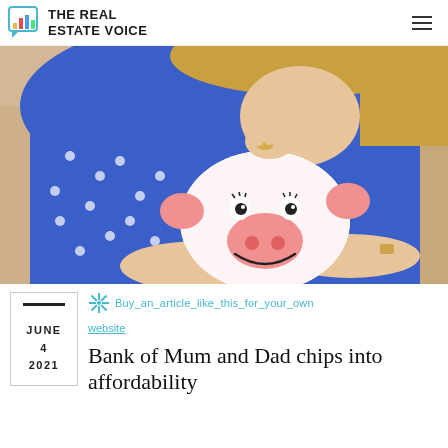THE REAL ESTATE VOICE
[Figure (photo): A child inserting a coin into a pink piggy bank held by an adult woman wearing a blue polka-dot top, seated on a light-coloured sofa.]
Buy an article like this for your own website
JUNE 4 2021
Bank of Mum and Dad chips into affordability